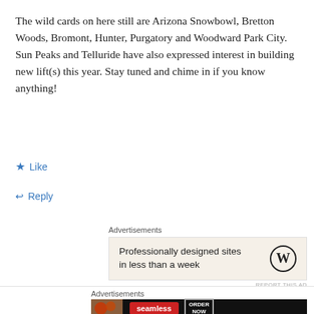The wild cards on here still are Arizona Snowbowl, Bretton Woods, Bromont, Hunter, Purgatory and Woodward Park City. Sun Peaks and Telluride have also expressed interest in building new lift(s) this year. Stay tuned and chime in if you know anything!
★ Like
↩ Reply
Advertisements
[Figure (screenshot): WordPress advertisement: 'Professionally designed sites in less than a week' with WordPress logo]
REPORT THIS AD
Advertisements
[Figure (screenshot): Seamless food delivery advertisement with pizza image, Seamless red logo, and ORDER NOW button]